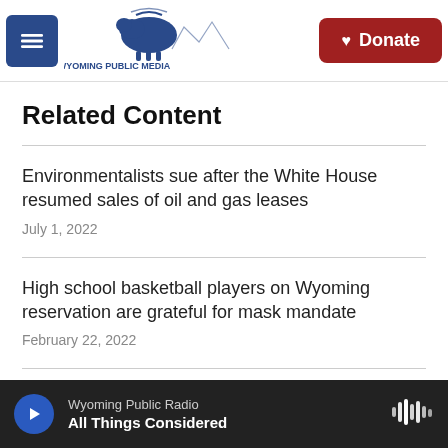Wyoming Public Media — Donate
Related Content
Environmentalists sue after the White House resumed sales of oil and gas leases
July 1, 2022
High school basketball players on Wyoming reservation are grateful for mask mandate
February 22, 2022
Media Fascination With The
Wyoming Public Radio
All Things Considered